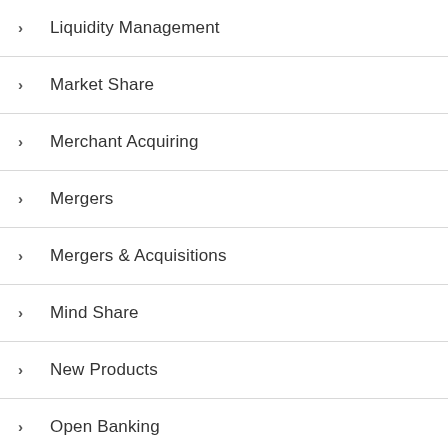Liquidity Management
Market Share
Merchant Acquiring
Mergers
Mergers & Acquisitions
Mind Share
New Products
Open Banking
Operations
Partnerships
Payments
Press Release